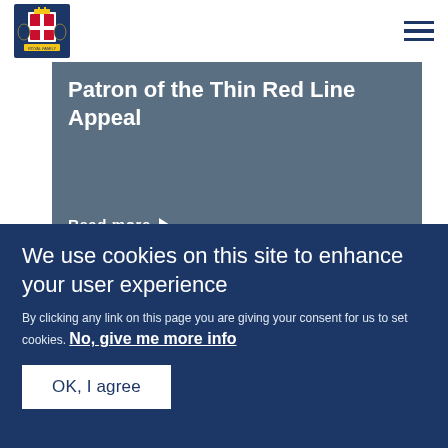Royal crest logo and navigation menu
Patron of the Thin Red Line Appeal
Read more
PRESS RELEASE   11 OCTOBER 2016
The Queen and The Duke of Edinburgh will be meeting of
We use cookies on this site to enhance your user experience
By clicking any link on this page you are giving your consent for us to set cookies. No, give me more info
OK, I agree